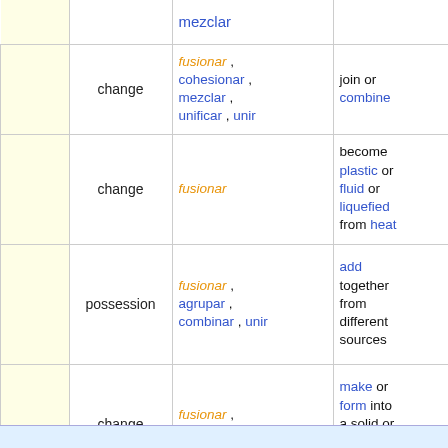|  | Semantic | Spanish | English |
| --- | --- | --- | --- |
|  |  | mezclar |  |
|  | change | fusionar, cohesionar, mezclar, unificar, unir | join or combine |
|  | change | fusionar | become plastic or fluid or liquefied from heat |
|  | possession | fusionar, agrupar, combinar, unir | add together from different sources |
|  | change | fusionar, consolidar | make or form into a solid or hardened mass |